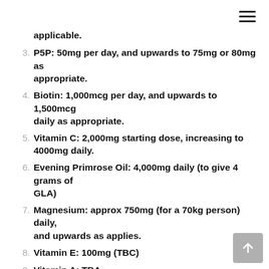applicable.
3. P5P: 50mg per day, and upwards to 75mg or 80mg as appropriate.
4. Biotin: 1,000mcg per day, and upwards to 1,500mcg daily as appropriate.
5. Vitamin C: 2,000mg starting dose, increasing to 4000mg daily.
6. Evening Primrose Oil: 4,000mg daily (to give 4 grams of GLA)
7. Magnesium: approx 750mg (for a 70kg person) daily, and upwards as applies.
8. Vitamin E: 100mg (TBC)
9. Vitamin A: TBA
10. Molybdenum: 1,000mcg (only if copper toxicity or heavy metals are present)